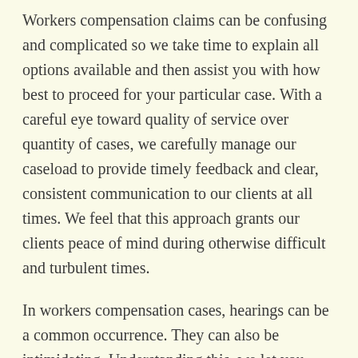Workers compensation claims can be confusing and complicated so we take time to explain all options available and then assist you with how best to proceed for your particular case. With a careful eye toward quality of service over quantity of cases, we carefully manage our caseload to provide timely feedback and clear, consistent communication to our clients at all times. We feel that this approach grants our clients peace of mind during otherwise difficult and turbulent times.
In workers compensation cases, hearings can be a common occurrence. They can also be intimidating. Understanding this, we let you